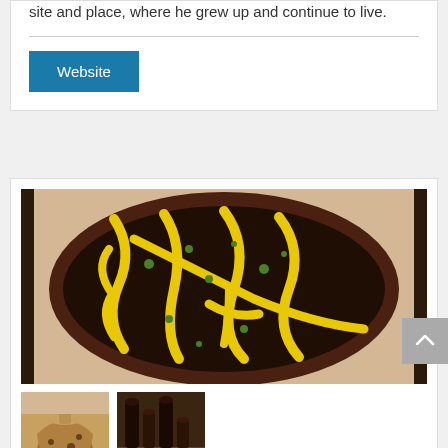site and place, where he grew up and continue to live.
Website
[Figure (photo): Large ceramic plate/bowl with dark brown/black glaze and bold yellow wavy stripe pattern, displayed on a light beige background]
[Figure (photo): Small thumbnail of a ceramic jar/pot with yellowish glaze and dark spots]
[Figure (photo): Small thumbnail of dark ceramic bottles/vessels arranged on a wooden shelf]